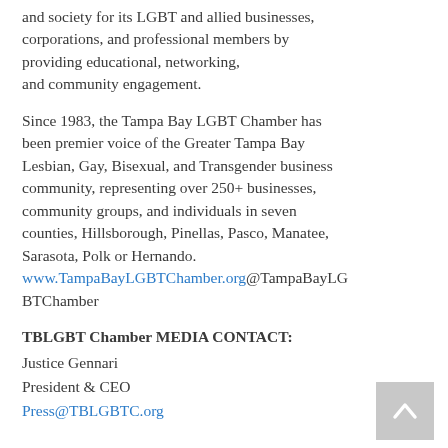and society for its LGBT and allied businesses, corporations, and professional members by providing educational, networking, and community engagement.
Since 1983, the Tampa Bay LGBT Chamber has been premier voice of the Greater Tampa Bay Lesbian, Gay, Bisexual, and Transgender business community, representing over 250+ businesses, community groups, and individuals in seven counties, Hillsborough, Pinellas, Pasco, Manatee, Sarasota, Polk or Hernando. www.TampaBayLGBTChamber.org@TampaBayLGBTChamber
TBLGBT Chamber MEDIA CONTACT:
Justice Gennari
President & CEO
Press@TBLGBTC.org